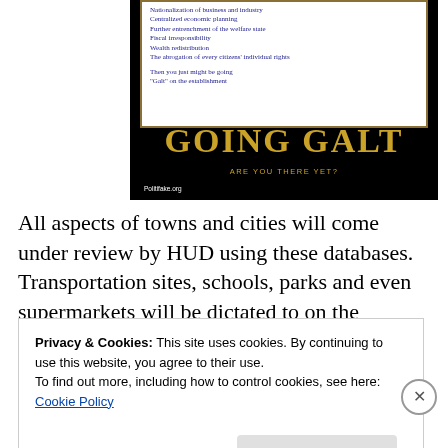[Figure (illustration): A 'Going Galt' motivational-style poster with a white inner panel listing political items in blue text (Nationalization of business and industry, Centralized economic planning, Further entrenchment of the welfare state, Fiscal irresponsibility, Wealth redistribution, The abrogation of every citizens' individual rights), followed by 'Then you just might be going "Galt" on the establishment'. The main title reads 'GOING GALT' in large gold letters on a black background, with the subtitle 'ARE YOU THERE YET?' Attributed to Politifake.org.]
All aspects of towns and cities will come under review by HUD using these databases. Transportation sites, schools, parks and even supermarkets will be dictated to on the
Privacy & Cookies: This site uses cookies. By continuing to use this website, you agree to their use.
To find out more, including how to control cookies, see here: Cookie Policy
Close and accept